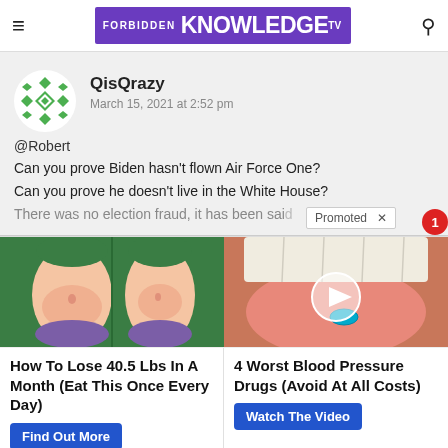FORBIDDEN KNOWLEDGE TV
QisQrazy
March 15, 2021 at 2:52 pm
@Robert
Can you prove Biden hasn't flown Air Force One?
Can you prove he doesn't live in the White House?
There was no election fraud, it has been said
Promoted ×
[Figure (illustration): Ad image: cartoon illustration of weight loss before/after torso in purple bikini]
How To Lose 40.5 Lbs In A Month (Eat This Once Every Day)
Find Out More
[Figure (photo): Ad image: close-up photo of tongue with blue pill, with video play button overlay]
4 Worst Blood Pressure Drugs (Avoid At All Costs)
Watch The Video